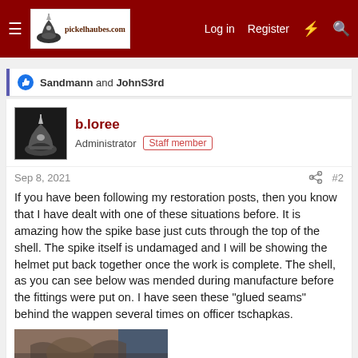pickelhaubes.com — Log in  Register
Sandmann and JohnS3rd
b.loree
Administrator  Staff member
Sep 8, 2021  #2
If you have been following my restoration posts, then you know that I have dealt with one of these situations before. It is amazing how the spike base just cuts through the top of the shell. The spike itself is undamaged and I will be showing the helmet put back together once the work is complete. The shell, as you can see below was mended during manufacture before the fittings were put on. I have seen these "glued seams" behind the wappen several times on officer tschapkas.
[Figure (photo): Close-up photo of a leather helmet shell showing a mended seam or damaged area at the top, with dark fabric or material visible.]